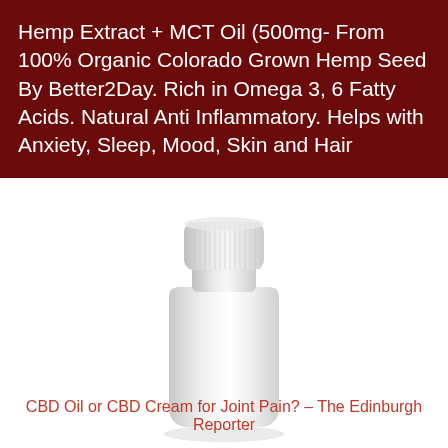Hemp Extract + MCT Oil (500mg- From 100% Organic Colorado Grown Hemp Seed By Better2Day. Rich in Omega 3, 6 Fatty Acids. Natural Anti Inflammatory. Helps with Anxiety, Sleep, Mood, Skin and Hair
[Figure (photo): A white plastic supplement bottle with a white ribbed cap, photographed against a white background with a soft shadow beneath it.]
CBD Oil or CBD Cream for Joint Pain? – The Edinburgh Reporter